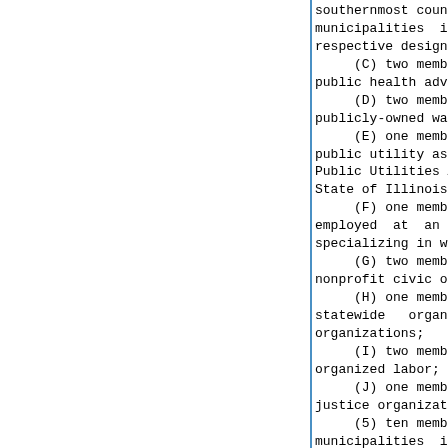southernmost county repre municipalities in Illin respective designees; (C) two members who a public health advocacy gr (D) two members who a publicly-owned water util (E) one member who is public utility as define Public Utilities Act that State of Illinois; (F) one member who is employed at an Illino specializing in water inf (G) two members who a nonprofit civic organizat (H) one member who is statewide organization organizations; (I) two members who a organized labor; and (J) one member repres justice organization; and (5) ten members who are t municipalities in Illinois respective designees. No less than 10 of the 28 vot color, and no less than 3 shall r self-identified as environmental Advisory Board members shall